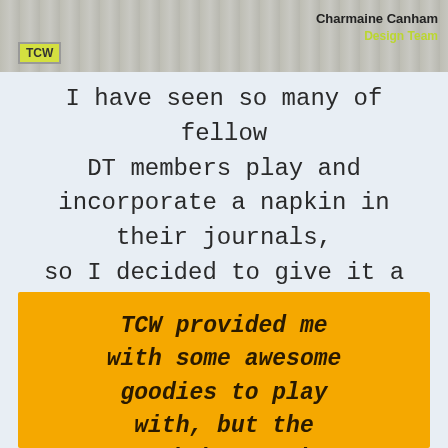[Figure (photo): Banner image with TCW logo badge, decorative background, and author name 'Charmaine Canham' with 'Design Team' label in yellow-green]
I have seen so many of fellow DT members play and incorporate a napkin in their journals, so I decided to give it a try.
TCW provided me with some awesome goodies to play with, but the opinions and creations are my